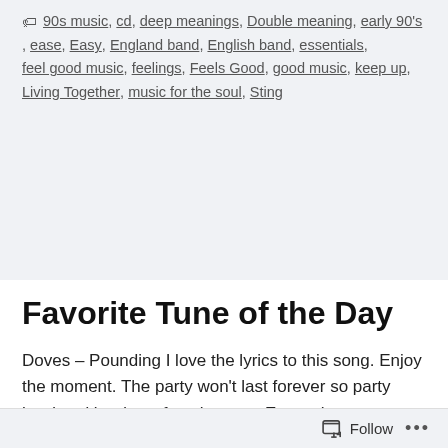🏷 90s music, cd, deep meanings, Double meaning, early 90's, ease, Easy, England band, English band, essentials, feel good music, feelings, Feels Good, good music, keep up, Living Together, music for the soul, Sting
Favorite Tune of the Day
Doves – Pounding I love the lyrics to this song. Enjoy the moment. The party won't last forever so party hard and be down for whatever. Even when you realize that the its ended act like it just began. Great group.!
Follow •••